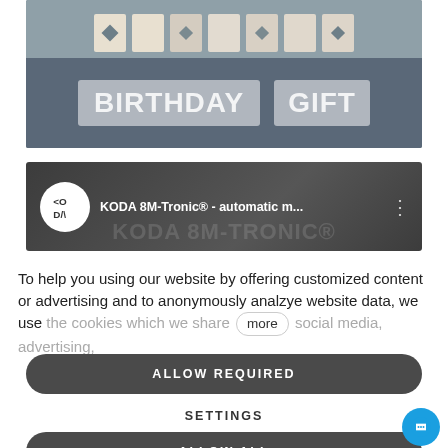[Figure (photo): Photo of wooden letter/block toys spelling something with text overlay reading BIRTHDAY GIFT in large white stencil letters on a grey background]
[Figure (screenshot): YouTube video thumbnail for KODA 8M-Tronic® - automatic m... with KODA logo (circular white icon with stylized letters) on dark grey background]
To help you using our website by offering customized content or advertising and to anonymously analzye website data, we use the cookies which we share with social media, advertising,
ALLOW REQUIRED
SETTINGS
ALLOW ALL